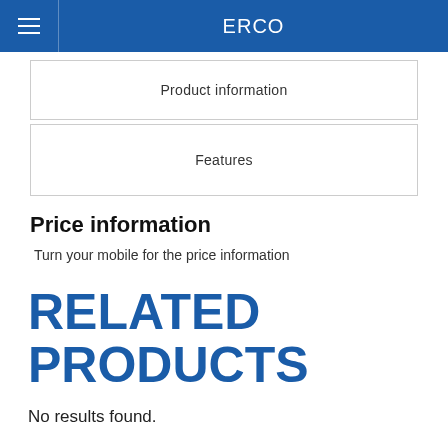ERCO
Product information
Features
Price information
Turn your mobile for the price information
RELATED PRODUCTS
No results found.